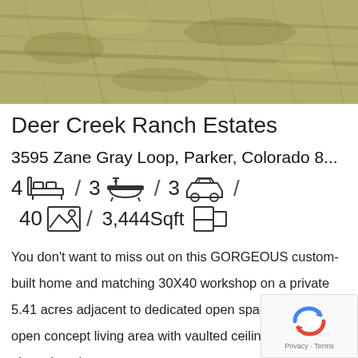[Figure (photo): Aerial or ground photo of grassy/lawn area - Deer Creek Ranch Estates property photo]
Deer Creek Ranch Estates
3595 Zane Gray Loop, Parker, Colorado 8...
4 [bed icon] / 3 [bath icon] / 3 [car/garage icon] / 40 [photo icon] / 3,444Sqft [floorplan icon]
You don't want to miss out on this GORGEOUS custom-built home and matching 30X40 workshop on a private 5.41 acres adjacent to dedicated open space!!! Large open concept living area with vaulted ceilings and plantation shutters.